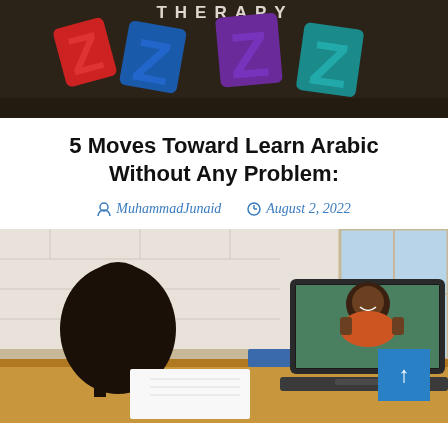[Figure (photo): Colorful foam toy letters (red, blue, purple, teal) on a dark surface with partial text 'THERAPY' visible at top]
5 Moves Toward Learn Arabic Without Any Problem:
MuhammadJunaid   August 2, 2022
[Figure (photo): A student (girl with braided hair) sits at a desk writing in a notebook while attending an online class on a laptop, which shows a smiling instructor giving thumbs up. A blue scroll-to-top button is visible in the bottom right corner.]